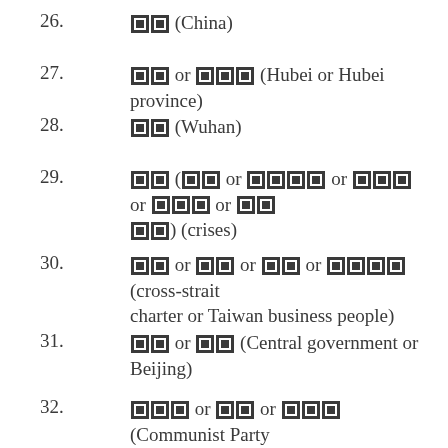26. [redacted] (China)
27. [redacted] or [redacted] (Hubei or Hubei province)
28. [redacted] (Wuhan)
29. [redacted] ([redacted] or [redacted] or [redacted] or [redacted] or [redacted] [redacted]) (crises)
30. [redacted] or [redacted] or [redacted] or [redacted] (cross-strait charter or Taiwan business people)
31. [redacted] or [redacted] (Central government or Beijing)
32. [redacted] or [redacted] or [redacted] (Communist Party or two other nicknames related to the Chinese Communist Party)